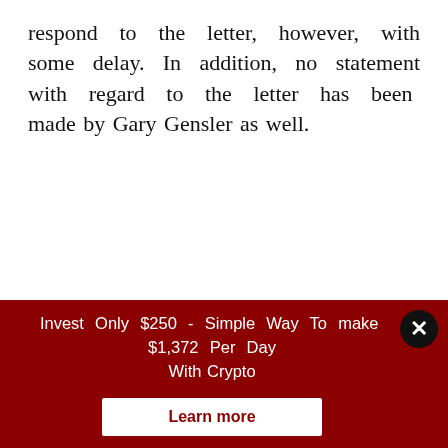respond to the letter, however, with some delay. In addition, no statement with regard to the letter has been made by Gary Gensler as well.
Author: Jerry Dedmon
Jerry Dedmon is a new writer on Cryptocoin Stock Exchange, his articles are cryptocurrency news, analysis and blockchain news based. We recommend tuning in for Jerry's
Invest Only $250 - Simple Way To make $1,372 Per Day With Crypto
Learn more